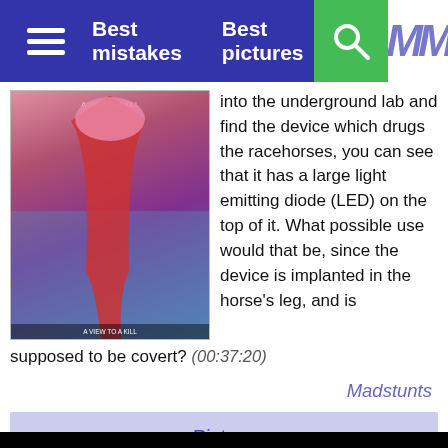Best mistakes   Best pictures
into the underground lab and find the device which drugs the racehorses, you can see that it has a large light emitting diode (LED) on the top of it. What possible use would that be, since the device is implanted in the horse's leg, and is supposed to be covert? (00:37:20)
Madstunts
Picture
[Figure (screenshot): Black video player area with a white play button triangle in the center]